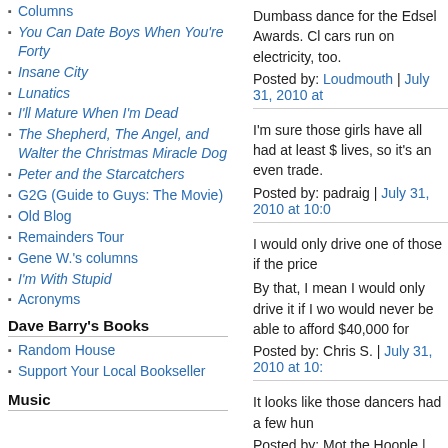Columns
You Can Date Boys When You're Forty
Insane City
Lunatics
I'll Mature When I'm Dead
The Shepherd, The Angel, and Walter the Christmas Miracle Dog
Peter and the Starcatchers
G2G (Guide to Guys: The Movie)
Old Blog
Remainders Tour
Gene W.'s columns
I'm With Stupid
Acronyms
Dave Barry's Books
Random House
Support Your Local Bookseller
Music
Dumbass dance for the Edsel Awards. Cl cars run on electricity, too.
Posted by: Loudmouth | July 31, 2010 at
I'm sure those girls have all had at least $ lives, so it's an even trade.
Posted by: padraig | July 31, 2010 at 10:0
I would only drive one of those if the price
By that, I mean I would only drive it if I wo would never be able to afford $40,000 for
Posted by: Chris S. | July 31, 2010 at 10:
It looks like those dancers had a few hun
Posted by: Mot the Hoople | July 31, 2010